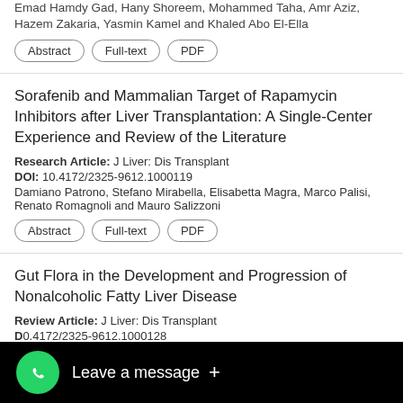Emad Hamdy Gad, Hany Shoreem, Mohammed Taha, Amr Aziz, Hazem Zakaria, Yasmin Kamel and Khaled Abo El-Ella
Abstract | Full-text | PDF
Sorafenib and Mammalian Target of Rapamycin Inhibitors after Liver Transplantation: A Single-Center Experience and Review of the Literature
Research Article: J Liver: Dis Transplant
DOI: 10.4172/2325-9612.1000119
Damiano Patrono, Stefano Mirabella, Elisabetta Magra, Marco Palisi, Renato Romagnoli and Mauro Salizzoni
Abstract | Full-text | PDF
Gut Flora in the Development and Progression of Nonalcoholic Fatty Liver Disease
Review Article: J Liver: Dis Transplant
DOI: 10.4172/2325-9612.1000128
Ammer Matloeb and Naim Alkhouri